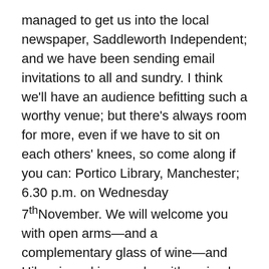managed to get us into the local newspaper, Saddleworth Independent; and we have been sending email invitations to all and sundry. I think we'll have an audience befitting such a worthy venue; but there's always room for more, even if we have to sit on each others' knees, so come along if you can: Portico Library, Manchester; 6.30 p.m. on Wednesday 7th November. We will welcome you with open arms—and a complementary glass of wine—and Hilary is making a cake with an iced topping featuring the book's cover. Janet Rogerson, the Chairperson at Poets&Players, has also circulated the event on our behalf under the P&P logo, which is very considerate of her, so hopefully some of our regular P&P audience will come along. I'm as excited as a child at Christmas!
In other news, I had an ultrasound scan on my left shoulder and the radiologist found something that needs...